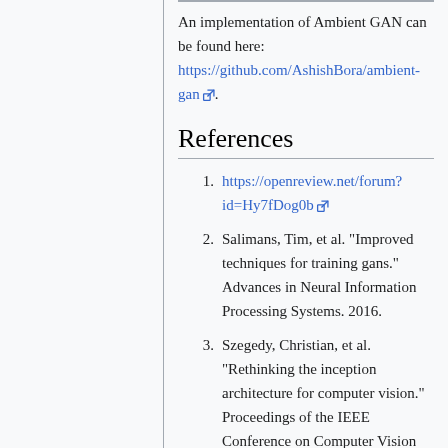An implementation of Ambient GAN can be found here: https://github.com/AshishBora/ambient-gan.
References
1. https://openreview.net/forum?id=Hy7fDog0b
2. Salimans, Tim, et al. "Improved techniques for training gans." Advances in Neural Information Processing Systems. 2016.
3. Szegedy, Christian, et al. "Rethinking the inception architecture for computer vision." Proceedings of the IEEE Conference on Computer Vision and Pattern Recognition. 2016.